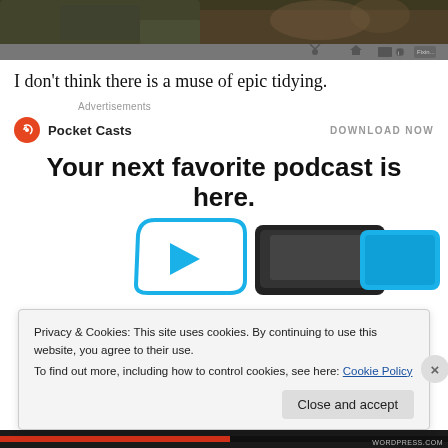[Figure (screenshot): Top portion of a webpage screenshot showing a dark photo of a dining/craft table scene with toolbar icons at the bottom]
I don't think there is a muse of epic tidying.
Advertisements
[Figure (logo): Pocket Casts logo with red circle icon and bold text 'Pocket Casts', with 'DOWNLOAD NOW' on the right]
Your next favorite podcast is here.
[Figure (illustration): Illustration of smartphone and tablet devices with blue play button graphic for Pocket Casts ad]
Privacy & Cookies: This site uses cookies. By continuing to use this website, you agree to their use.
To find out more, including how to control cookies, see here: Cookie Policy
Close and accept